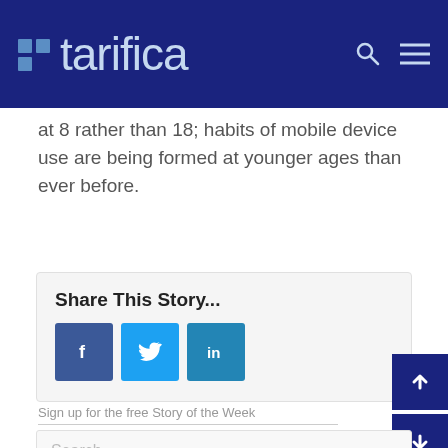tarifica
at 8 rather than 18; habits of mobile device use are being formed at younger ages than ever before.
Share This Story...
[Figure (infographic): Share This Story box with Facebook, Twitter, and LinkedIn buttons]
Sign up for the free Story of the Week
Search ...
Recent Posts